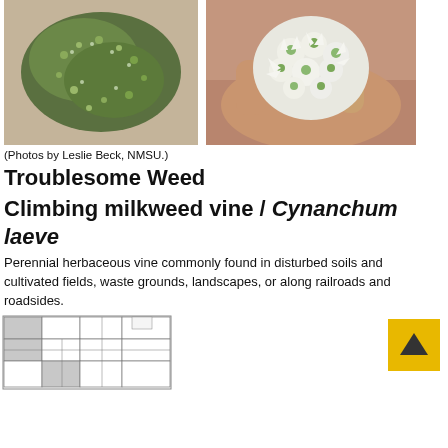[Figure (photo): Two photos side by side: left photo shows a dense mat of climbing milkweed vine plant with small green leaves on sandy/rocky ground; right photo shows a hand holding white clustered flowers of Cynanchum laeve.]
(Photos by Leslie Beck, NMSU.)
Troublesome Weed
Climbing milkweed vine / Cynanchum laeve
Perennial herbaceous vine commonly found in disturbed soils and cultivated fields, waste grounds, landscapes, or along railroads and roadsides.
[Figure (map): Map of New Mexico counties with some counties shaded in gray indicating presence of Climbing milkweed vine.]